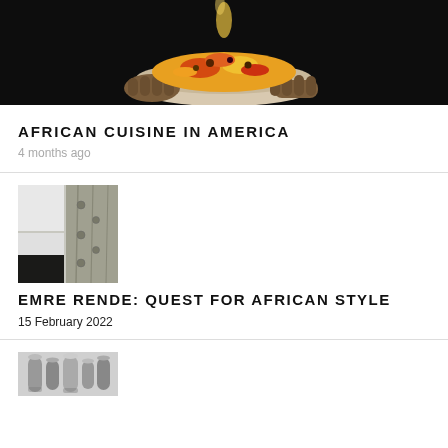[Figure (photo): Hands holding a white bowl filled with colorful African food/spices against a dark background]
AFRICAN CUISINE IN AMERICA
4 months ago
[Figure (photo): Close-up of a wooden surface with metal rivets, partially showing a dark background with white rectangular insets]
EMRE RENDE: QUEST FOR AFRICAN STYLE
15 February 2022
[Figure (photo): Black and white photo of tall cylindrical containers or vessels]